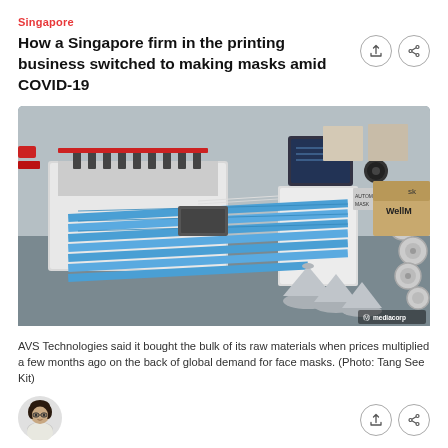Singapore
How a Singapore firm in the printing business switched to making masks amid COVID-19
[Figure (photo): A mask-making machine production line with blue surgical masks being formed and processed. The machinery is white/silver with various mechanical components including rollers, stamps, and forming cones. A 'WellM' branded box is visible on the right. Mediacorp watermark in bottom right corner.]
AVS Technologies said it bought the bulk of its raw materials when prices multiplied a few months ago on the back of global demand for face masks. (Photo: Tang See Kit)
[Figure (photo): Author headshot: a woman with glasses and dark hair, wearing light-colored clothing.]